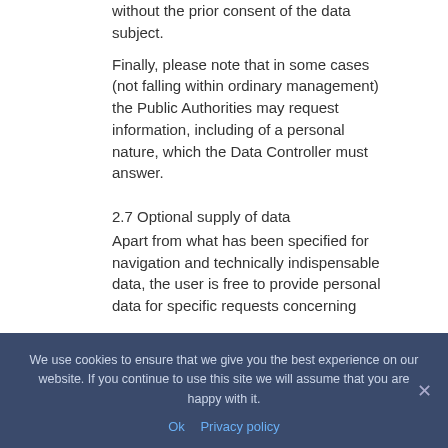without the prior consent of the data subject. Finally, please note that in some cases (not falling within ordinary management) the Public Authorities may request information, including of a personal nature, which the Data Controller must answer.
2.7 Optional supply of data
Apart from what has been specified for navigation and technically indispensable data, the user is free to provide personal data for specific requests concerning
We use cookies to ensure that we give you the best experience on our website. If you continue to use this site we will assume that you are happy with it.
Ok   Privacy policy